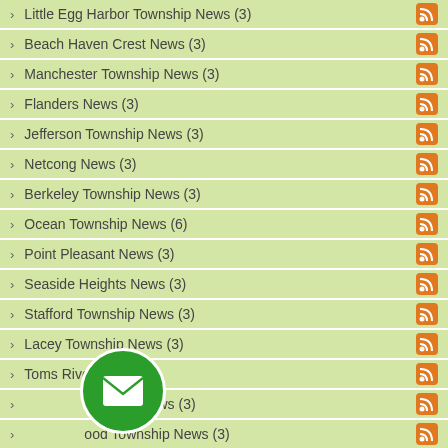Little Egg Harbor Township News (3)
Beach Haven Crest News (3)
Manchester Township News (3)
Flanders News (3)
Jefferson Township News (3)
Netcong News (3)
Berkeley Township News (3)
Ocean Township News (6)
Point Pleasant News (3)
Seaside Heights News (3)
Stafford Township News (3)
Lacey Township News (3)
Toms River News (3)
...ownship News (3)
...ood Township News (3)